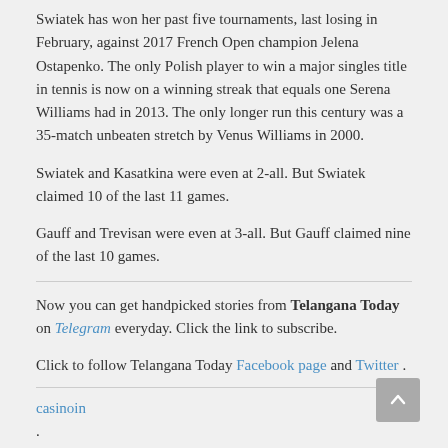Swiatek has won her past five tournaments, last losing in February, against 2017 French Open champion Jelena Ostapenko. The only Polish player to win a major singles title in tennis is now on a winning streak that equals one Serena Williams had in 2013. The only longer run this century was a 35-match unbeaten stretch by Venus Williams in 2000.
Swiatek and Kasatkina were even at 2-all. But Swiatek claimed 10 of the last 11 games.
Gauff and Trevisan were even at 3-all. But Gauff claimed nine of the last 10 games.
Now you can get handpicked stories from Telangana Today on Telegram everyday. Click the link to subscribe.
Click to follow Telangana Today Facebook page and Twitter .
casinoin
.